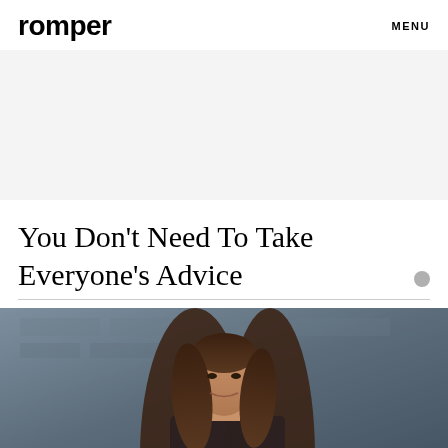romper  MENU
[Figure (other): Gray advertisement banner placeholder area]
You Don't Need To Take Everyone's Advice
[Figure (photo): Photo of a woman with long brown hair, looking forward, against a blurred dark background]